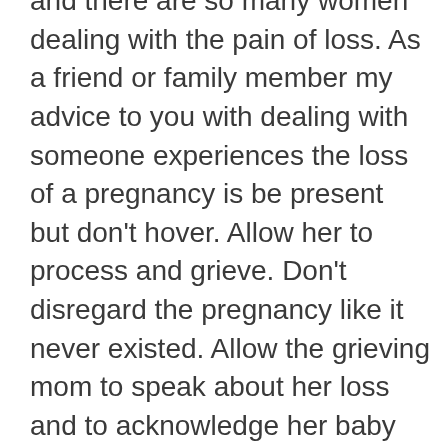and there are so many women dealing with the pain of loss. As a friend or family member my advice to you with dealing with someone experiences the loss of a pregnancy is be present but don't hover. Allow her to process and grieve. Don't disregard the pregnancy like it never existed. Allow the grieving mom to speak about her loss and to acknowledge her baby even if she has to cry , just be there to listen. I lived with the grief for over eight years before I actually was ready to talk abut it and deal with it. Everyone